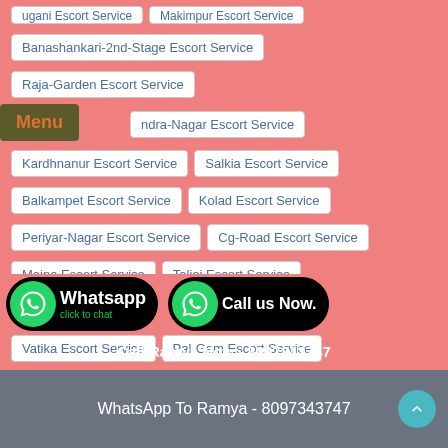Banashankari-2nd-Stage Escort Service
Raja-Garden Escort Service
ndra-Nagar Escort Service
Kardhnanur Escort Service
Salkia Escort Service
Balkampet Escort Service
Kolad Escort Service
Periyar-Nagar Escort Service
Cg-Road Escort Service
Maina Escort Service
Taljai Escort Service
Anna-Salai Escort Service
Zahirabad Escort Service
Vatika Escort Service
Pal-Gam Escort Service
Kanpur-Dehat Escort Service
New-Town-Action-Area-1 Escort Service
Seera-Road Escort Service
Prahlad Escort Service
Whatsapp click to chat
Call us Now.
Call Ramya Now - 8097343747
WhatsApp To Ramya - 8097343747